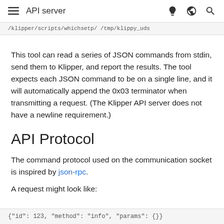API server
/klipper/scripts/whichsetp/ /tmp/klippy_uds
This tool can read a series of JSON commands from stdin, send them to Klipper, and report the results. The tool expects each JSON command to be on a single line, and it will automatically append the 0x03 terminator when transmitting a request. (The Klipper API server does not have a newline requirement.)
API Protocol
The command protocol used on the communication socket is inspired by json-rpc.
A request might look like:
{"id": 123, "method": "info", "params": {}}